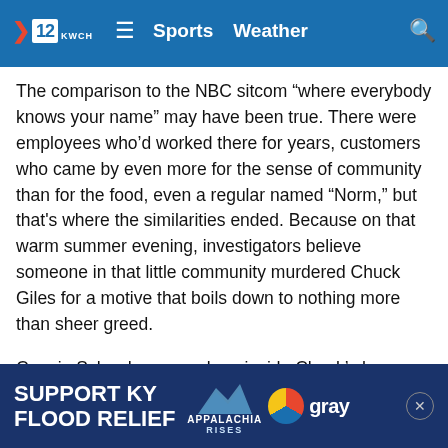12 KWCH | Sports | Weather
The comparison to the NBC sitcom “where everybody knows your name” may have been true. There were employees who’d worked there for years, customers who came by even more for the sense of community than for the food, even a regular named “Norm,” but that’s where the similarities ended. Because on that warm summer evening, investigators believe someone in that little community murdered Chuck Giles for a motive that boils down to nothing more than sheer greed.
Connie Schrader was asleep inside Chuck’s home when he was shot just outside. She thought the noises she heard came from Chuck knocking on the window. Maybe he’d had trouble getting the garage door open, she thought. It didn’t always work right, so she went outside to find him… and then she saw the window… and Connie
[Figure (other): Advertisement banner: SUPPORT KY FLOOD RELIEF with Appalachia Rises and Gray Television logos]